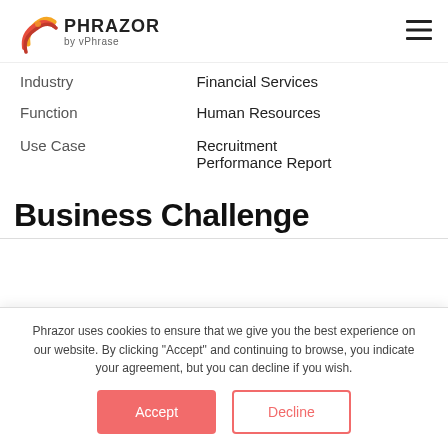PHRAZOR by vPhrase
|  |  |
| --- | --- |
| Industry | Financial Services |
| Function | Human Resources |
| Use Case | Recruitment Performance Report |
Business Challenge
Phrazor uses cookies to ensure that we give you the best experience on our website. By clicking "Accept" and continuing to browse, you indicate your agreement, but you can decline if you wish.